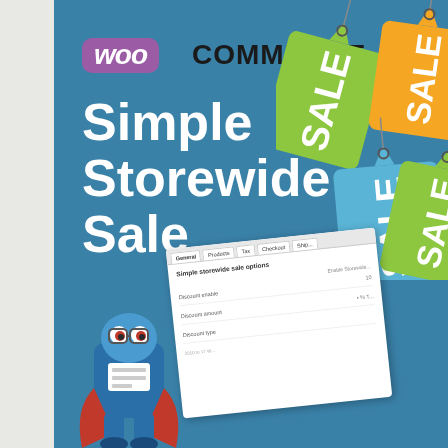[Figure (illustration): WooCommerce Simple Storewide Sale plugin cover image. Teal/blue background with WooCommerce logo (purple 'woo' badge + black 'COMMERCE' text), large white title text 'Simple Storewide Sale', colorful sale price tags hanging from clothespins (green, yellow, blue), a WooCommerce mascot character (blue box body with glasses, orange cape), and a WordPress/WooCommerce settings panel overlay showing 'Simple storewide sale options' with fields: Discount enable, Discount amount, Discount type.]